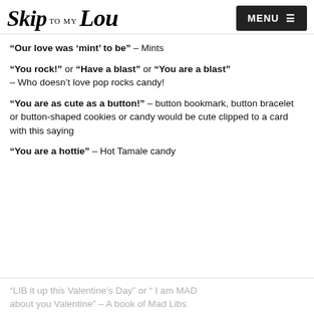Skip to my Lou — MENU
“Our love was ‘mint’ to be” – Mints
“You rock!” or “Have a blast” or “You are a blast” – Who doesn’t love pop rocks candy!
“You are as cute as a button!” – button bookmark, button bracelet or button-shaped cookies or candy would be cute clipped to a card with this saying
“You are a hottie” – Hot Tamale candy
“LIB it up this Valentine’s Day” or “ I am MAD about you Valentine” – A book of Mad Libs